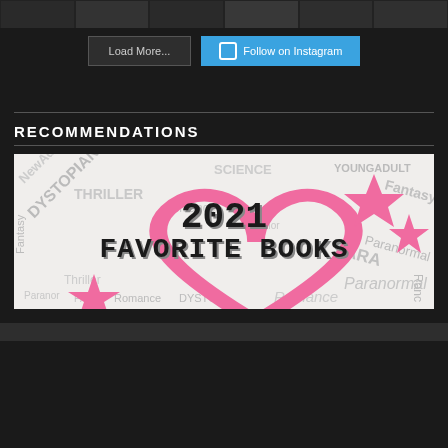[Figure (photo): Strip of Instagram photo thumbnails at top of page, dark themed]
Load More...
Follow on Instagram
RECOMMENDATIONS
[Figure (illustration): 2021 Favorite Books promotional image with word cloud background featuring book genres (Dystopian, Thriller, Science, Young Adult, Fantasy, Paranormal, Romance, etc.), pink heart outline, pink stars, and bold text reading '2021 FAVORITE BOOKS']
[Figure (photo): Partial view of another image at bottom of page, cut off]